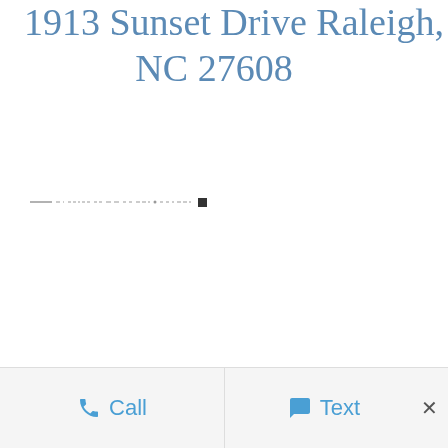1913 Sunset Drive Raleigh, NC 27608
[Figure (other): Dashed/dotted decorative horizontal line separator with a small dark square marker at the right end]
Call   Text   ×